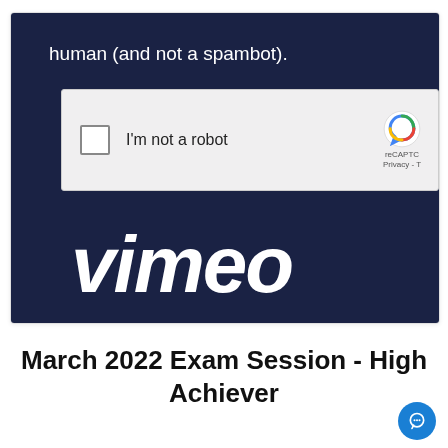[Figure (screenshot): Screenshot of a Vimeo login page showing a reCAPTCHA widget with 'I'm not a robot' checkbox on a dark navy background with Vimeo wordmark partially visible. Text reads 'human (and not a spambot).' at top.]
March 2022 Exam Session - High Achiever